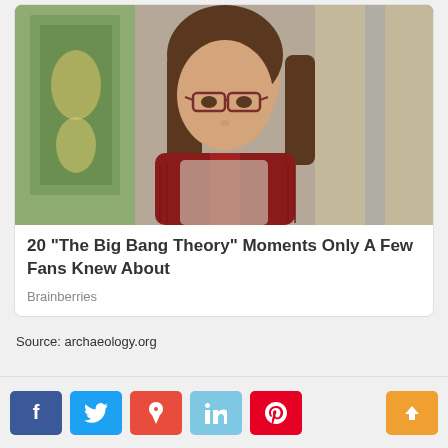[Figure (photo): A woman with long brown hair wearing glasses and a red cardigan, standing in what appears to be a kitchen/apartment set. Likely a character from The Big Bang Theory TV show.]
20 "The Big Bang Theory" Moments Only A Few Fans Knew About
Brainberries
Source: archaeology.org
[Figure (other): Social media share buttons: Facebook (blue), Twitter (light blue), StumbleUpon (red), LinkedIn (light blue), Pinterest (red), and an orange scroll-to-top button with an up arrow.]